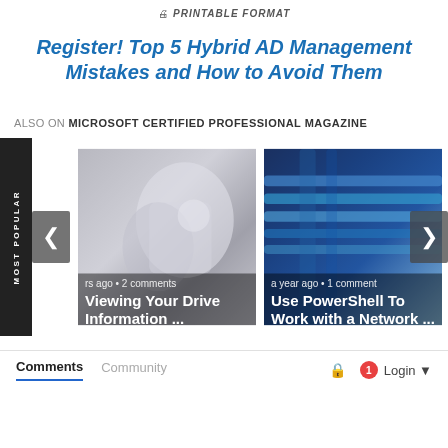PRINTABLE FORMAT
Register! Top 5 Hybrid AD Management Mistakes and How to Avoid Them
ALSO ON MICROSOFT CERTIFIED PROFESSIONAL MAGAZINE
[Figure (screenshot): Carousel with two article cards. Left card shows a robot hand image with overlay text 'rs ago • 2 comments' and 'Viewing Your Drive Information ...'. Right card shows network cables with overlay text 'a year ago • 1 comment' and 'Use PowerShell To Work with a Network ...'. A 'MOST POPULAR' label is on the left side. Navigation arrows on each side.]
Comments	Community	🔒	1 Login